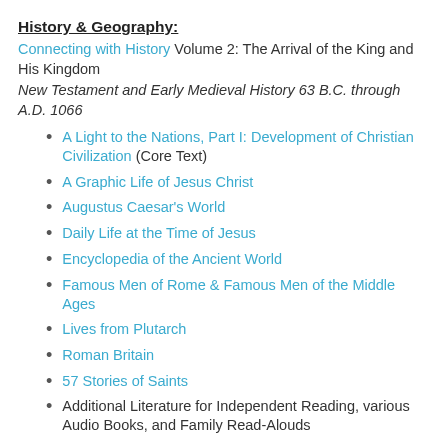History & Geography:
Connecting with History Volume 2: The Arrival of the King and His Kingdom
New Testament and Early Medieval History 63 B.C. through A.D. 1066
A Light to the Nations, Part I: Development of Christian Civilization (Core Text)
A Graphic Life of Jesus Christ
Augustus Caesar's World
Daily Life at the Time of Jesus
Encyclopedia of the Ancient World
Famous Men of Rome & Famous Men of the Middle Ages
Lives from Plutarch
Roman Britain
57 Stories of Saints
Additional Literature for Independent Reading, various Audio Books, and Family Read-Alouds